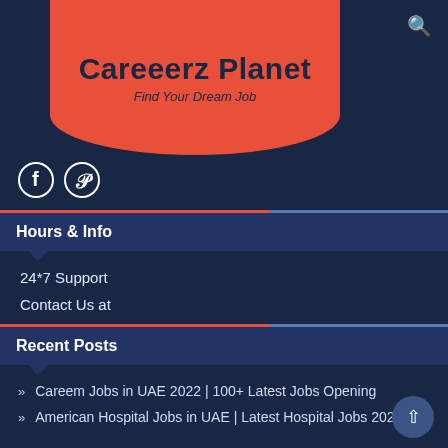Careeerz Planet
Find Your Dream Job
[Figure (logo): Facebook and Pinterest social media icons]
Hours & Info
24*7 Support
Contact Us at
CareerzPlanet@gmail.com
Recent Posts
Careem Jobs in UAE 2022 | 100+ Latest Jobs Opening
American Hospital Jobs in UAE | Latest Hospital Jobs 2022